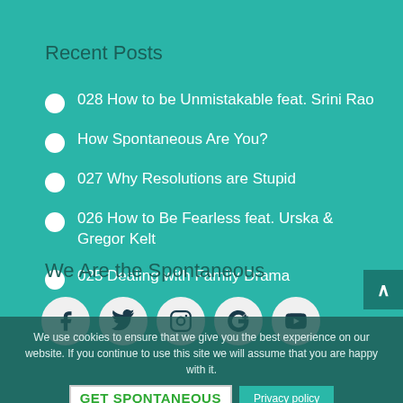Recent Posts
028 How to be Unmistakable feat. Srini Rao
How Spontaneous Are You?
027 Why Resolutions are Stupid
026 How to Be Fearless feat. Urska & Gregor Kelt
025 Dealing with Family Drama
We Are the Spontaneous
[Figure (infographic): Row of 5 social media icon buttons (Facebook, Twitter, Instagram, Google+, YouTube) as white circles on teal background]
We use cookies to ensure that we give you the best experience on our website. If you continue to use this site we will assume that you are happy with it.
[Figure (logo): GET SPONTANEOUS logo in green bold text on white background]
Privacy policy